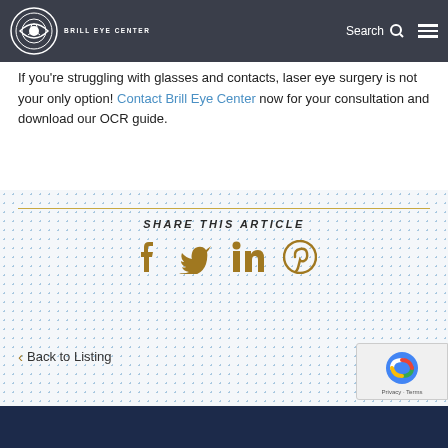Brill Eye Center — navigation bar with logo, Search, and menu icon
If you're struggling with glasses and contacts, laser eye surgery is not your only option! Contact Brill Eye Center now for your consultation and download our OCR guide.
SHARE THIS ARTICLE
< Back to Listing
Footer bar (dark navy)